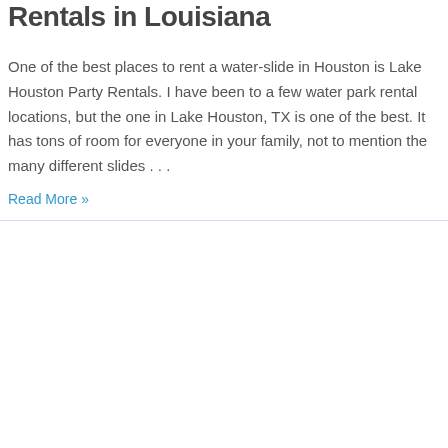Rentals in Louisiana
One of the best places to rent a water-slide in Houston is Lake Houston Party Rentals. I have been to a few water park rental locations, but the one in Lake Houston, TX is one of the best. It has tons of room for everyone in your family, not to mention the many different slides . . .
Read More »